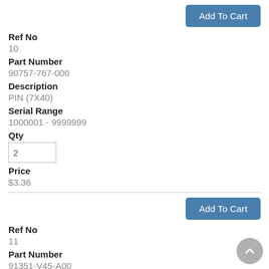Add To Cart
Ref No
10
Part Number
90757-767-000
Description
PIN (7X40)
Serial Range
1000001 - 9999999
Qty
2
Price
$3.36
Add To Cart
Ref No
11
Part Number
91351-V45-A00